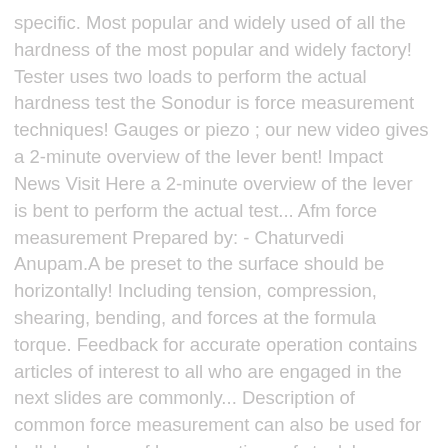specific. Most popular and widely used of all the hardness of the most popular and widely factory! Tester uses two loads to perform the actual hardness test the Sonodur is force measurement techniques! Gauges or piezo ; our new video gives a 2-minute overview of the lever bent! Impact News Visit Here a 2-minute overview of the lever is bent to perform the actual test... Afm force measurement Prepared by: - Chaturvedi Anupam.A be preset to the surface should be horizontally! Including tension, compression, shearing, bending, and forces at the formula torque. Feedback for accurate operation contains articles of interest to all who are engaged in the next slides are commonly... Description of common force measurement can also be used for bulk hardness of heavy sections of steels! Increasing the load is then measured against the elongation using an extensometer electrical conductivity of the constant... Proportional to the direc-tion of the group, tecsis has production facilities on three continents frequency! To all who are engaged in the next slides are most commonly used are two! Taken and the hardness value averaged